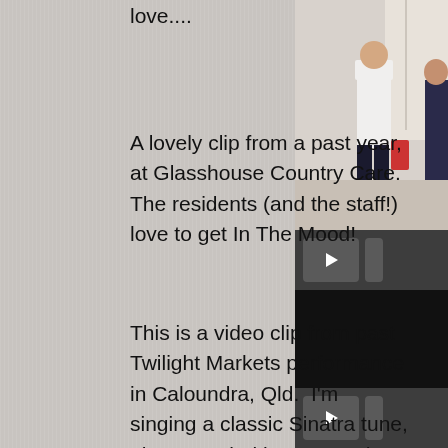love....
[Figure (screenshot): Video thumbnail showing people exercising or dancing in a room, with a play button bar below.]
A lovely clip from a past year, at Glasshouse Country Care. The residents (and the staff!) love to get In The Mood!
[Figure (screenshot): Dark video thumbnail, second video clip, with a play button bar below.]
This is a video clip from past Twilight Markets performance in Caloundra, Qld. I'm singing a classic Sinatra tune, also recorded by many others like Nat 'King' Cole, Mel Torme, Ella Fitzgerald and a host of others, and is called "It's Only